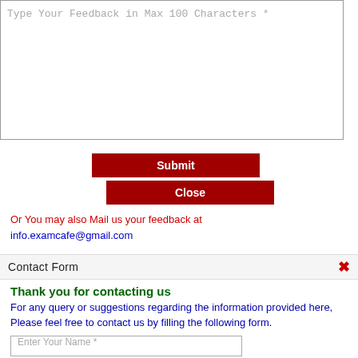[Figure (screenshot): Textarea input field with placeholder text 'Type Your Feedback in Max 100 Characters *']
[Figure (screenshot): Red Submit button]
[Figure (screenshot): Red Close button]
Or You may also Mail us your feedback at info.examcafe@gmail.com
Contact Form
Thank you for contacting us
For any query or suggestions regarding the information provided here, Please feel free to contact us by filling the following form.
[Figure (screenshot): Input field with placeholder 'Enter Your Name *']